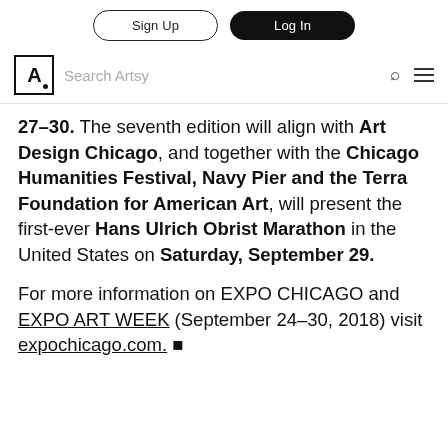Sign Up | Log In | Search Artsy
27–30. The seventh edition will align with Art Design Chicago, and together with the Chicago Humanities Festival, Navy Pier and the Terra Foundation for American Art, will present the first-ever Hans Ulrich Obrist Marathon in the United States on Saturday, September 29.
For more information on EXPO CHICAGO and EXPO ART WEEK (September 24–30, 2018) visit expochicago.com. ▪